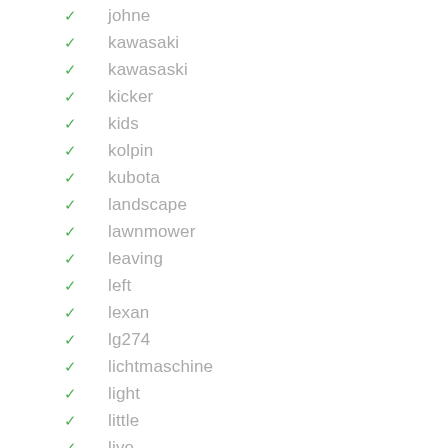johne
kawasaki
kawasaski
kicker
kids
kolpin
kubota
landscape
lawnmower
leaving
left
lexan
lg274
lichtmaschine
light
little
live
lms2002yl